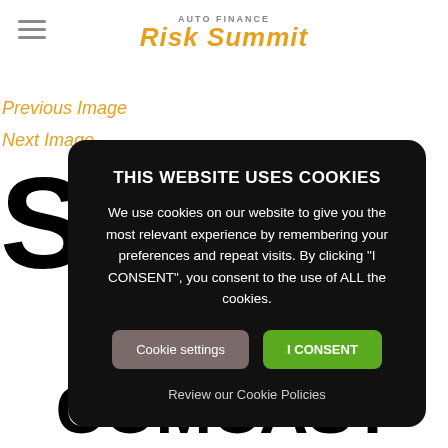[Figure (logo): Auto Finance Risk Summit logo with hamburger menu icon on left]
Previous Image
Next Image
[Figure (screenshot): Cookie consent modal dialog on dark background overlay. Title: THIS WEBSITE USES COOKIES. Body: We use cookies on our website to give you the most relevant experience by remembering your preferences and repeat visits. By clicking "I CONSENT", you consent to the use of ALL the cookies. Buttons: Cookie settings, I CONSENT. Link: Review our Cookie Policies]
COMCAST